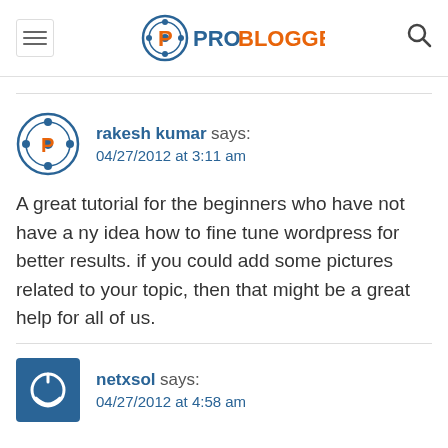ProBlogger
rakesh kumar says:
04/27/2012 at 3:11 am
A great tutorial for the beginners who have not have any idea how to fine tune wordpress for better results. if you could add some pictures related to your topic, then that might be a great help for all of us.
netxsol says:
04/27/2012 at 4:58 am